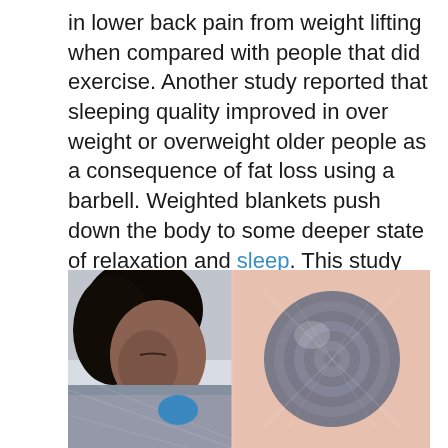in lower back pain from weight lifting when compared with people that did exercise. Another study reported that sleeping quality improved in over weight or overweight older people as a consequence of fat loss using a barbell. Weighted blankets push down the body to some deeper state of relaxation and sleep. This study declared that burden lifting lower cortisol levels whilst restraining the body from the low-stress state throughout sleepapnea.
[Figure (photo): Two photos side by side: left shows a woman of color sleeping under a weighted blanket, right shows a rolled-up grey weighted blanket on a peachy-pink background.]